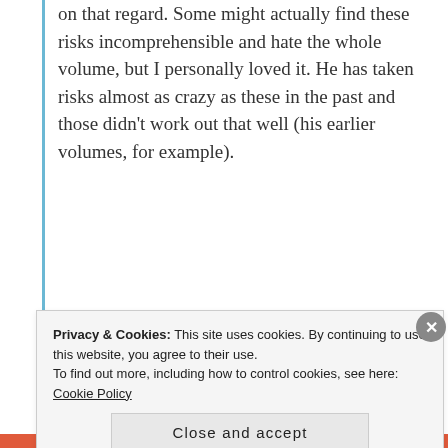on that regard. Some might actually find these risks incomprehensible and hate the whole volume, but I personally loved it. He has taken risks almost as crazy as these in the past and those didn't work out that well (his earlier volumes, for example).
★ Like    REPLY
Chris Evans @ Geek Blogger UK
SEPTEMBER 16, 2018 AT 5:21 AM
Privacy & Cookies: This site uses cookies. By continuing to use this website, you agree to their use.
To find out more, including how to control cookies, see here: Cookie Policy
Close and accept